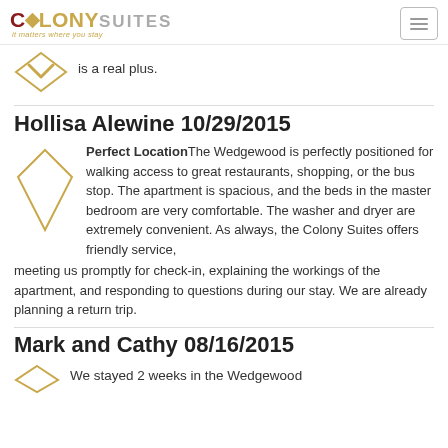[Figure (logo): Colony Suites logo with diamond icon and tagline 'it matters where you stay']
is a real plus.
Hollisa Alewine 10/29/2015
Perfect Location The Wedgewood is perfectly positioned for walking access to great restaurants, shopping, or the bus stop. The apartment is spacious, and the beds in the master bedroom are very comfortable. The washer and dryer are extremely convenient. As always, the Colony Suites offers friendly service, meeting us promptly for check-in, explaining the workings of the apartment, and responding to questions during our stay. We are already planning a return trip.
Mark and Cathy 08/16/2015
We stayed 2 weeks in the Wedgewood